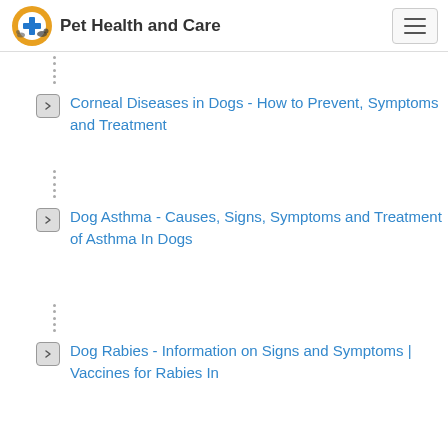Pet Health and Care
Corneal Diseases in Dogs - How to Prevent, Symptoms and Treatment
Dog Asthma - Causes, Signs, Symptoms and Treatment of Asthma In Dogs
Dog Rabies - Information on Signs and Symptoms | Vaccines for Rabies In